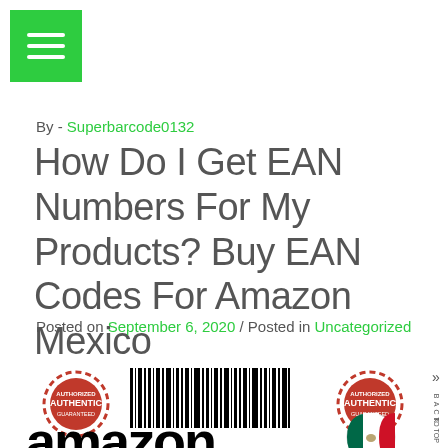[Figure (other): Green hamburger menu button icon]
By - Superbarcode0132
How Do I Get EAN Numbers For My Products? Buy EAN Codes For Amazon Mexico
Posted on September 6, 2020  /  Posted in Uncategorized
[Figure (illustration): EAN barcode image with two red 'Authentic' circular stamps on either side, amazon logo text, and Mexican flag, with a back-to-top navigation arrow on the right side]